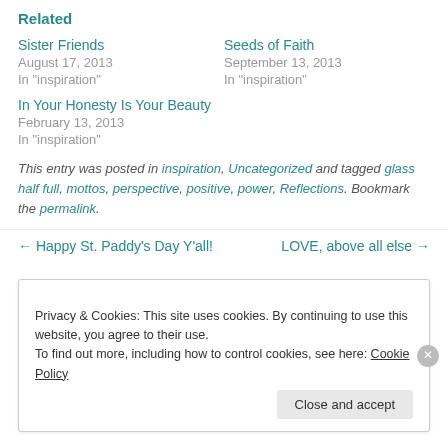Related
Sister Friends
August 17, 2013
In "inspiration"
Seeds of Faith
September 13, 2013
In "inspiration"
In Your Honesty Is Your Beauty
February 13, 2013
In "inspiration"
This entry was posted in inspiration, Uncategorized and tagged glass half full, mottos, perspective, positive, power, Reflections. Bookmark the permalink.
← Happy St. Paddy's Day Y'all!
LOVE, above all else →
Privacy & Cookies: This site uses cookies. By continuing to use this website, you agree to their use.
To find out more, including how to control cookies, see here: Cookie Policy
Close and accept